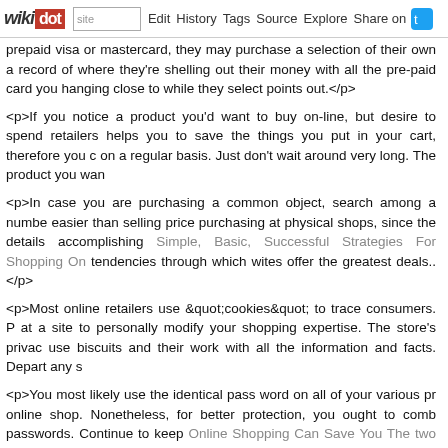wikidot | site | Edit | History | Tags | Source | Explore | Share on [twitter]
prepaid visa or mastercard, they may purchase a selection of their own a record of where they're shelling out their money with all the pre-paid card you hanging close to while they select points out.</p>
<p>If you notice a product you'd want to buy on-line, but desire to spend retailers helps you to save the things you put in your cart, therefore you c on a regular basis. Just don't wait around very long. The product you wan
<p>In case you are purchasing a common object, search among a numbe easier than selling price purchasing at physical shops, since the details accomplishing Simple, Basic, Successful Strategies For Shopping On tendencies through which wites offer the greatest deals..</p>
<p>Most online retailers use &quot;cookies&quot; to trace consumers. P at a site to personally modify your shopping expertise. The store's privac use biscuits and their work with all the information and facts. Depart any s
<p>You most likely use the identical pass word on all of your various pr online shop. Nonetheless, for better protection, you ought to comb passwords. Continue to keep Online Shopping Can Save You The two Tir difficult recalling them.</p>
[[image http://unsully.com/wp-content/uploads/2016/04/india-online-retail-
<p>No respected firm ought to require or will need your social security qu Therefore, make it the exercise never to share your SSN on the web. Sho asked for this variety, tend not to keep on. You are probably on comprehensive the deal.</p>
<p>Look at Effortless Methods To Spend Less On The Web . This a very